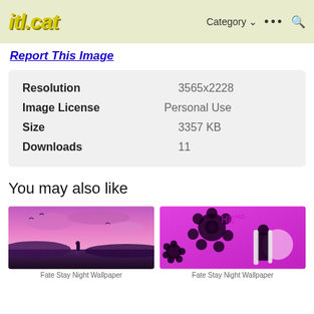itl.cat — Category … 🔍
Report This Image
| Field | Value |
| --- | --- |
| Resolution | 3565x2228 |
| Image License | Personal Use |
| Size | 3357 KB |
| Downloads | 11 |
You may also like
[Figure (photo): Fate Stay Night Wallpaper — anime girl in purple/pink sunset field scene]
[Figure (photo): Fate Stay Night Wallpaper — anime girl with black flowers on magenta/pink background]
Fate Stay Night Wallpaper
Fate Stay Night Wallpaper